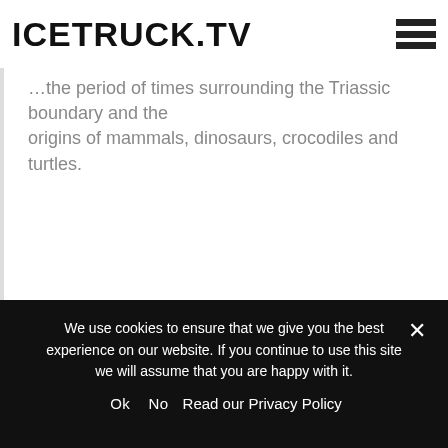ICETRUCK.TV
...the period of times surrounding the Triassic boundary and the origins of mammals, dinosaurs, crocodiles and turtles.
We use cookies to ensure that we give you the best experience on our website. If you continue to use this site we will assume that you are happy with it.
Ok  No  Read our Privacy Policy